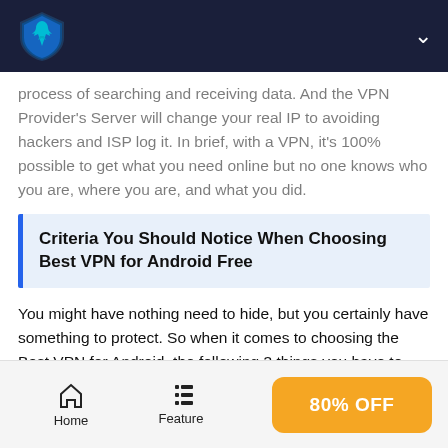Navigation bar with logo and chevron
process of searching and receiving data. And the VPN Provider's Server will change your real IP to avoiding hackers and ISP log it. In brief, with a VPN, it's 100% possible to get what you need online but no one knows who you are, where you are, and what you did.
Criteria You Should Notice When Choosing Best VPN for Android Free
You might have nothing need to hide, but you certainly have something to protect. So when it comes to choosing the Best VPN for Android, the following 3 things you have to pay attention to.
Home  Feature  80% OFF